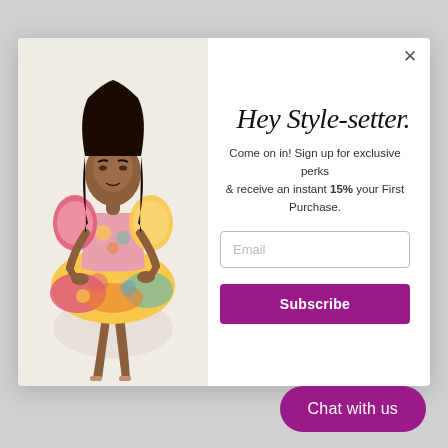[Figure (photo): Woman wearing a colorful floral off-shoulder mini dress with puff sleeves, standing in a modeling pose]
Hey Style-setter.
Come on in! Sign up for exclusive perks & receive an instant 15% your First Purchase.
Email
Subscribe
Chat with us